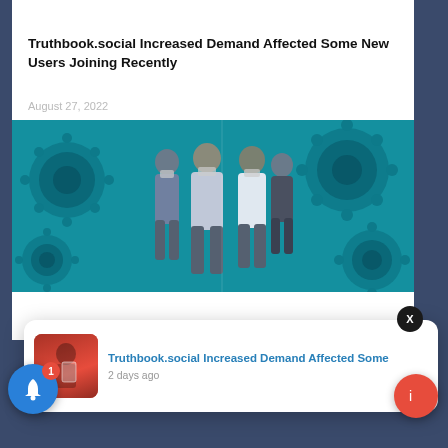[Figure (photo): Partial top image showing person holding phone, cropped at top of page]
Truthbook.social Increased Demand Affected Some New Users Joining Recently
August 27, 2022
[Figure (photo): Composite image showing people wearing masks walking through a crowd overlaid on teal-colored virus/coronavirus microscope images on left and right sides]
Excess Mor... Above Ave...
August 27, 2...
[Figure (screenshot): Notification popup showing thumbnail of person holding tablet/phone device with text 'Truthbook.social Increased Demand Affected Some' and '2 days ago']